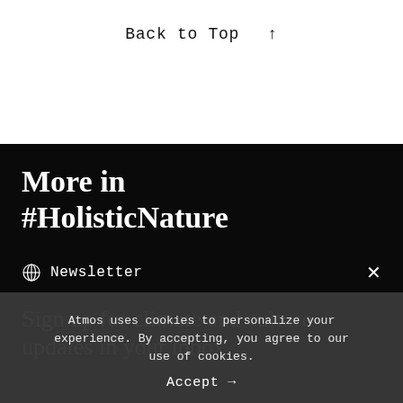Back to Top ↑
More in
#HolisticNature
Newsletter ×
Sign up for climate and culture updates in your inbox
Atmos uses cookies to personalize your experience. By accepting, you agree to our use of cookies.
Accept →
email address    Sign up →